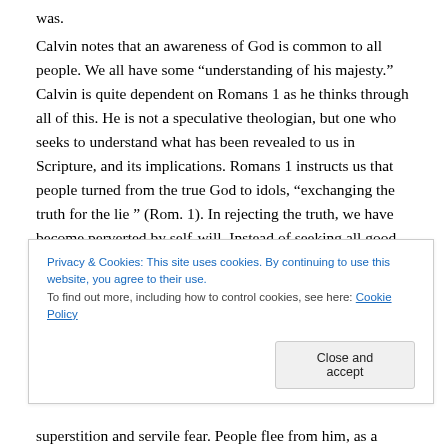was.
Calvin notes that an awareness of God is common to all people. We all have some “understanding of his majesty.” Calvin is quite dependent on Romans 1 as he thinks through all of this. He is not a speculative theologian, but one who seeks to understand what has been revealed to us in Scripture, and its implications. Romans 1 instructs us that people turned from the true God to idols, “exchanging the truth for the lie ” (Rom. 1). In rejecting the truth, we have become perverted by self-will. Instead of seeking all good in God, we have settled for the lie of the Serpent in
Privacy & Cookies: This site uses cookies. By continuing to use this website, you agree to their use.
To find out more, including how to control cookies, see here: Cookie Policy
Close and accept
superstition and servile fear. People flee from him, as a